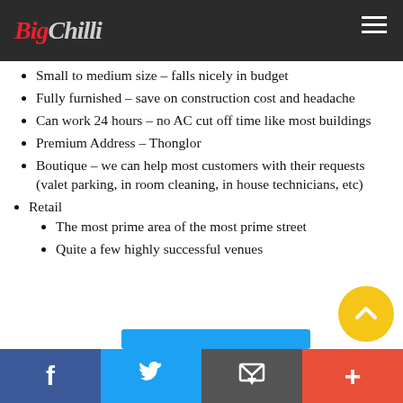BigChilli
Small to medium size – falls nicely in budget
Fully furnished – save on construction cost and headache
Can work 24 hours – no AC cut off time like most buildings
Premium Address – Thonglor
Boutique – we can help most customers with their requests (valet parking, in room cleaning, in house technicians, etc)
Retail
The most prime area of the most prime street
Quite a few highly successful venues
Facebook | Twitter | Email | +